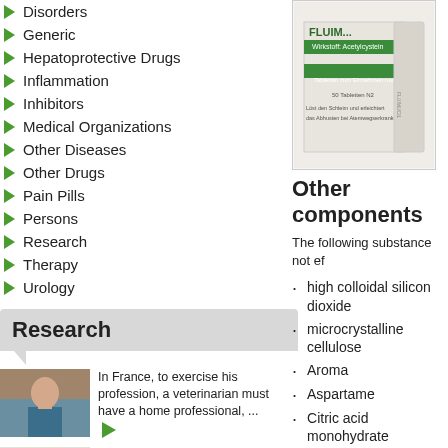Disorders
Generic
Hepatoprotective Drugs
Inflammation
Inhibitors
Medical Organizations
Other Diseases
Other Drugs
Pain Pills
Persons
Research
Therapy
Urology
Research
[Figure (photo): Photo of a veterinarian with a patient]
In France, to exercise his profession, a veterinarian must have a home professional, ...
[Figure (photo): Black and white portrait photo]
The ideal of the self (German: Ideallch) refers to the positive values that ...
[Figure (photo): Photo of cumin seed caraway]
Cumin seed Caraway
[Figure (photo): FLUIMUCIL Tabletten drug box image]
Other components
The following substance not ef
high colloidal silicon dioxide
microcrystalline cellulose
Aroma
Aspartame
Citric acid monohydrate
Crospovidone
Lactose monohydrate
MACROGOL 4000
Magnesium stearate
Saccharin sodium